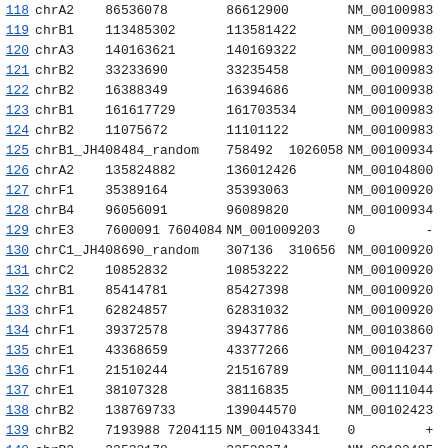| # | chr | start | end | NM_acc |
| --- | --- | --- | --- | --- |
| 118 | chrA2 | 86536078 | 86612900 | NM_00100983 |
| 119 | chrB1 | 113485302 | 113581422 | NM_00100938 |
| 120 | chrA3 | 140163621 | 140169322 | NM_00100983 |
| 121 | chrB2 | 33233690 | 33235458 | NM_00100983 |
| 122 | chrB2 | 16388349 | 16394686 | NM_00100938 |
| 123 | chrB1 | 161617729 | 161703534 | NM_00100983 |
| 124 | chrB2 | 11075672 | 11101122 | NM_00100983 |
| 125 | chrB1_JH408484_random | 758492 | 1026058 | NM_00100934 |
| 126 | chrA2 | 135824882 | 136012426 | NM_00104800 |
| 127 | chrF1 | 35389164 | 35393063 | NM_00100920 |
| 128 | chrB4 | 96056091 | 96089820 | NM_00100934 |
| 129 | chrE3 | 7600091 | 7604084 | NM_001009203 |
| 130 | chrC1_JH408690_random | 307136 | 310656 | NM_00100920 |
| 131 | chrC2 | 10852832 | 10853222 | NM_00100920 |
| 132 | chrB1 | 85414781 | 85427398 | NM_00100920 |
| 133 | chrF1 | 62824857 | 62831032 | NM_00100920 |
| 134 | chrF1 | 39372578 | 39437786 | NM_00103860 |
| 135 | chrE1 | 43368659 | 43377266 | NM_00104237 |
| 136 | chrF1 | 21510244 | 21516789 | NM_00111044 |
| 137 | chrE1 | 38107328 | 38116835 | NM_00111044 |
| 138 | chrB2 | 138769733 | 139044570 | NM_00102423 |
| 139 | chrB2 | 7193988 | 7204115 | NM_001043341 |
| 140 | chrB2 | 33532178 | 33539374 | NM_00102485 |